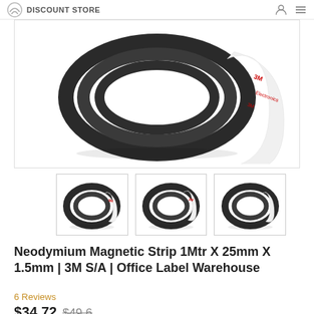DISCOUNT STORE
[Figure (photo): Large product photo of a neodymium magnetic strip with 3M adhesive backing, rolled into a coil showing the black magnetic side and white 3M branded adhesive side]
[Figure (photo): Thumbnail 1: Magnetic strip roll coiled, front view]
[Figure (photo): Thumbnail 2: Magnetic strip roll coiled, slightly different angle]
[Figure (photo): Thumbnail 3: Magnetic strip roll coiled, third angle]
Neodymium Magnetic Strip 1Mtr X 25mm X 1.5mm | 3M S/A | Office Label Warehouse
6 Reviews
$34.72 $49.6